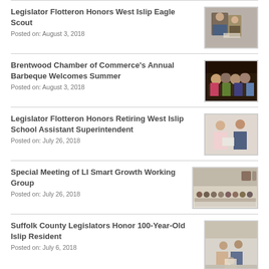Legislator Flotteron Honors West Islip Eagle Scout
Posted on: August 3, 2018
[Figure (photo): Two people posing together, one in a Boy Scout uniform holding a certificate]
Brentwood Chamber of Commerce's Annual Barbeque Welcomes Summer
Posted on: August 3, 2018
[Figure (photo): Group of people posing together at an indoor event]
Legislator Flotteron Honors Retiring West Islip School Assistant Superintendent
Posted on: July 26, 2018
[Figure (photo): Two people posing, one holding a framed item]
Special Meeting of LI Smart Growth Working Group
Posted on: July 26, 2018
[Figure (photo): Large group of people posing together in a room]
Suffolk County Legislators Honor 100-Year-Old Islip Resident
Posted on: July 6, 2018
[Figure (photo): Group of people posing together, one seated elderly person holding a certificate]